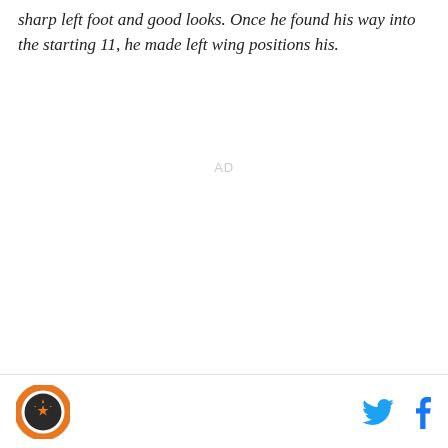sharp left foot and good looks. Once he found his way into the starting 11, he made left wing positions his.
[Figure (other): AD placeholder area]
Logo and social media icons (Twitter, Facebook)